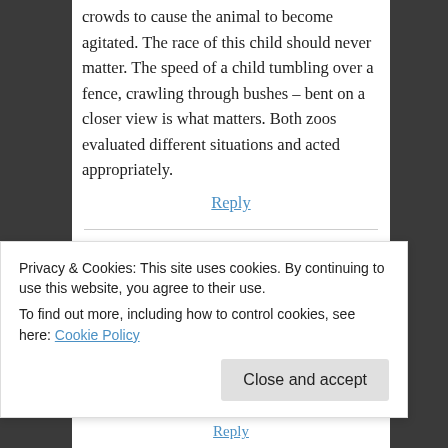crowds to cause the animal to become agitated. The race of this child should never matter. The speed of a child tumbling over a fence, crawling through bushes – bent on a closer view is what matters. Both zoos evaluated different situations and acted appropriately.
Reply
[Figure (illustration): Circular avatar icon with blue geometric/snowflake pattern for user daiuy2015]
daiuy2015
June 1, 2016 at 1:05 pm
Privacy & Cookies: This site uses cookies. By continuing to use this website, you agree to their use.
To find out more, including how to control cookies, see here: Cookie Policy
Close and accept
Reply